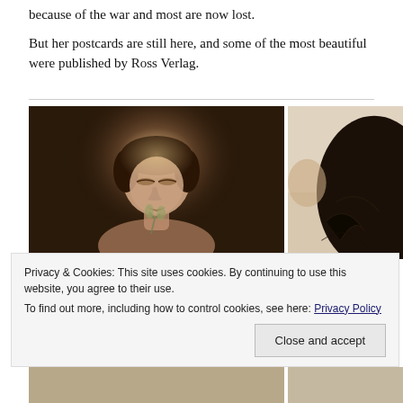because of the war and most are now lost.
But her postcards are still here, and some of the most beautiful were published by Ross Verlag.
[Figure (photo): Sepia-toned portrait photograph of a woman with eyes closed, head tilted slightly back, with a glowing halo-like effect around her head, holding what appears to be a flower or plant. Artistic early 20th century style postcard image. Partially visible second photo to the right showing dark hair and feathers.]
Privacy & Cookies: This site uses cookies. By continuing to use this website, you agree to their use.
To find out more, including how to control cookies, see here: Privacy Policy
Close and accept